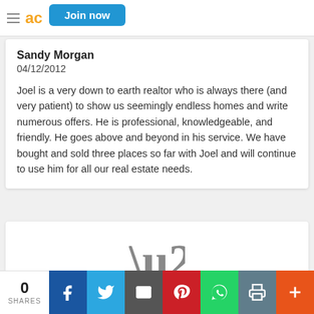Join now
Sandy Morgan
04/12/2012
Joel is a very down to earth realtor who is always there (and very patient) to show us seemingly endless homes and write numerous offers. He is professional, knowledgeable, and friendly. He goes above and beyond in his service. We have bought and sold three places so far with Joel and will continue to use him for all our real estate needs.
[Figure (illustration): Large quotation mark graphic in gray]
0 SHARES | Facebook | Twitter | Email | Pinterest | WhatsApp | Print | More